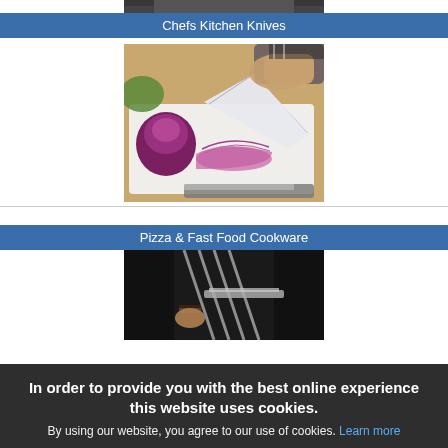[Figure (photo): Partial top edge of a food/knife photo, cropped at top of page]
Chefs Kitchen Knives
[Figure (photo): Person using a chef's knife to slice a red onion on a white cutting board]
Pizza & Fast Food Cookware
[Figure (photo): Partial photo of a person, dark image, partially obscured by cookie banner]
In order to provide you with the best online experience this website uses cookies.
By using our website, you agree to our use of cookies. Learn more